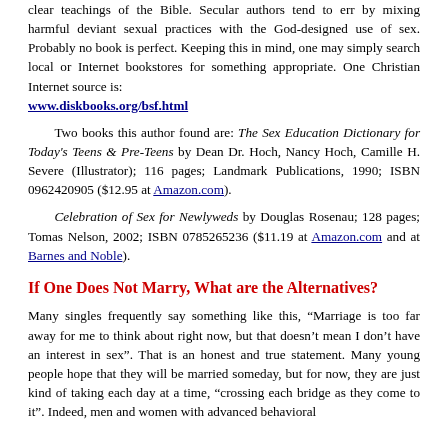clear teachings of the Bible. Secular authors tend to err by mixing harmful deviant sexual practices with the God-designed use of sex. Probably no book is perfect. Keeping this in mind, one may simply search local or Internet bookstores for something appropriate. One Christian Internet source is: www.diskbooks.org/bsf.html
Two books this author found are: The Sex Education Dictionary for Today's Teens & Pre-Teens by Dean Dr. Hoch, Nancy Hoch, Camille H. Severe (Illustrator); 116 pages; Landmark Publications, 1990; ISBN 0962420905 ($12.95 at Amazon.com).
Celebration of Sex for Newlyweds by Douglas Rosenau; 128 pages; Tomas Nelson, 2002; ISBN 0785265236 ($11.19 at Amazon.com and at Barnes and Noble).
If One Does Not Marry, What are the Alternatives?
Many singles frequently say something like this, "Marriage is too far away for me to think about right now, but that doesn't mean I don't have an interest in sex". That is an honest and true statement. Many young people hope that they will be married someday, but for now, they are just kind of taking each day at a time, "crossing each bridge as they come to it". Indeed, men and women with advanced behavioral